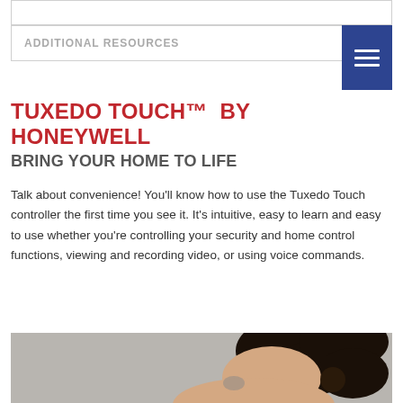ADDITIONAL RESOURCES
TUXEDO TOUCH™  BY HONEYWELL
BRING YOUR HOME TO LIFE
Talk about convenience! You'll know how to use the Tuxedo Touch controller the first time you see it. It's intuitive, easy to learn and easy to use whether you're controlling your security and home control functions, viewing and recording video, or using voice commands.
[Figure (photo): Photo of a woman with dark hair in a bun, looking down, partially visible from behind, against a gray background.]